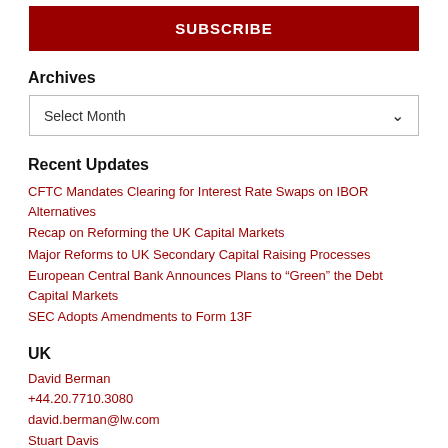SUBSCRIBE
Archives
Select Month
Recent Updates
CFTC Mandates Clearing for Interest Rate Swaps on IBOR Alternatives
Recap on Reforming the UK Capital Markets
Major Reforms to UK Secondary Capital Raising Processes
European Central Bank Announces Plans to “Green” the Debt Capital Markets
SEC Adopts Amendments to Form 13F
UK
David Berman
+44.20.7710.3080
david.berman@lw.com
Stuart Davis
+44.20.7710.1821
stuart.davis@lw.com